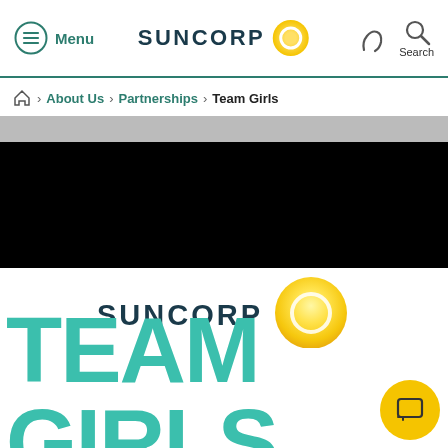Menu | SUNCORP | Search
About Us > Partnerships > Team Girls
[Figure (photo): Hero image area showing partial view of people, mostly black/dark background]
[Figure (logo): Suncorp logo with sun circle graphic]
TEAM GIRLS